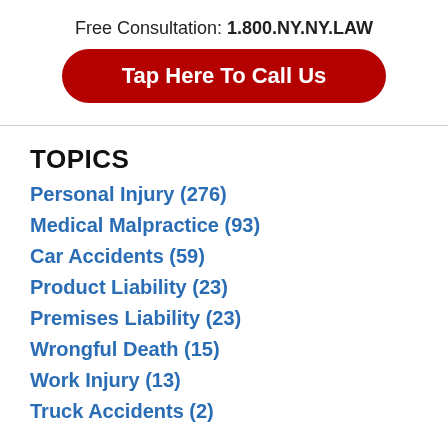Free Consultation: 1.800.NY.NY.LAW
Tap Here To Call Us
TOPICS
Personal Injury (276)
Medical Malpractice (93)
Car Accidents (59)
Product Liability (23)
Premises Liability (23)
Wrongful Death (15)
Work Injury (13)
Truck Accidents (2)